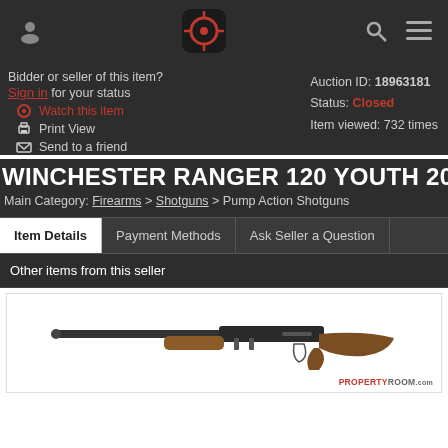PropertyRoom auction site header navigation
Bidder or seller of this item? Sign in for your status
Watch this item
Print View
Send to a friend
Auction ID: 18963181
Status: Closed
Item viewed: 732 times
WINCHESTER RANGER 120 YOUTH 20 GA
Main Category: Firearms > Shotguns > Pump Action Shotguns
Item Details | Payment Methods | Ask Seller a Question | Other items from this seller
[Figure (photo): Photo of a Winchester Ranger 120 Youth 20 gauge pump action shotgun, shown in profile with wood stock and dark barrel]